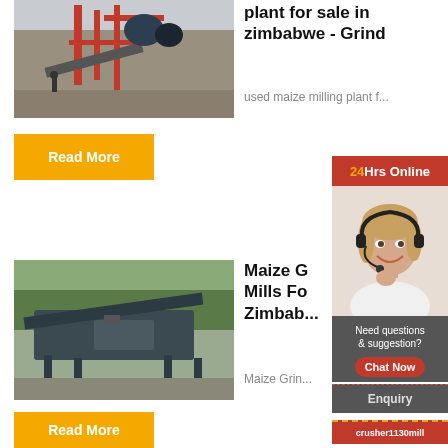[Figure (photo): Industrial plant or factory with red metal structures, machinery, conveyor belt, and workers on site]
plant for sale in zimbabwe - Grind
used maize milling plant f...
Read More
[Figure (photo): Mining or sand washing equipment beside a river or body of water, with machinery and conveyor belts]
Maize Grinding Mills For Zimbabwe
Maize Grin...
Read More
24Hrs Online
[Figure (photo): Customer service representative woman with headset smiling]
Need questions & suggestion?
Chat Now
Enquiry
crusher1130mill